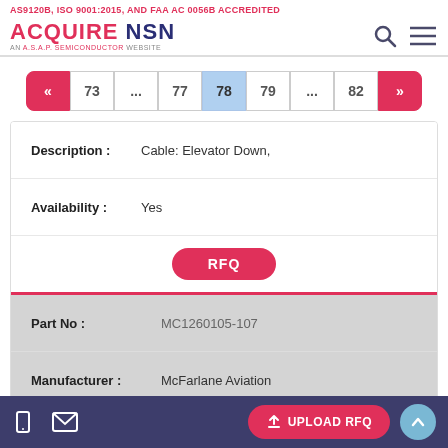AS9120B, ISO 9001:2015, AND FAA AC 0056B ACCREDITED
ACQUIRE NSN — AN A.S.A.P. SEMICONDUCTOR WEBSITE
Pagination: « 73 ... 77 78 79 ... 82 »
| Field | Value |
| --- | --- |
| Description : | Cable: Elevator Down, |
| Availability : | Yes |
|  | RFQ |
| Part No : | MC1260105-107 |
| Manufacturer : | McFarlane Aviation |
| Description : | Cable: Rudder,Fwd,Lh, |
UPLOAD RFQ